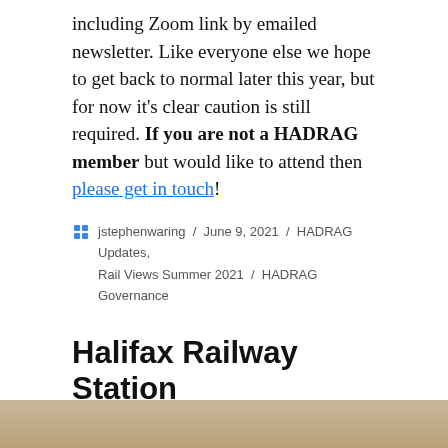including Zoom link by emailed newsletter. Like everyone else we hope to get back to normal later this year, but for now it's clear caution is still required. If you are not a HADRAG member but would like to attend then please get in touch!
jstephenwaring / June 9, 2021 / HADRAG Updates, Rail Views Summer 2021 / HADRAG Governance
Halifax Railway Station plans: last chance to comment – for now
[Figure (photo): Bottom strip of a photograph showing a brownish/beige surface, partially visible at the bottom of the page.]